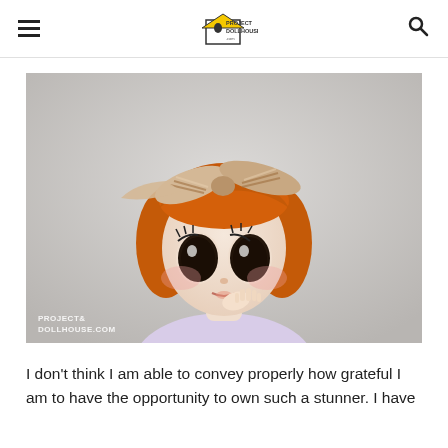PROJECT DOLLHOUSE (logo with hamburger menu and search icon)
[Figure (photo): Close-up photo of a Pullip-style doll with short orange/auburn hair, large dark eyes with painted lashes, rosy cheeks, and a striped beige/cream bow headband. The doll has a pale face with a slightly open mouth and one hand raised near its chin. It wears a light lavender top. Background is soft grey/white. Watermark reads PROJECT DOLLHOUSE.com in bottom left corner.]
I don't think I am able to convey properly how grateful I am to have the opportunity to own such a stunner. I have